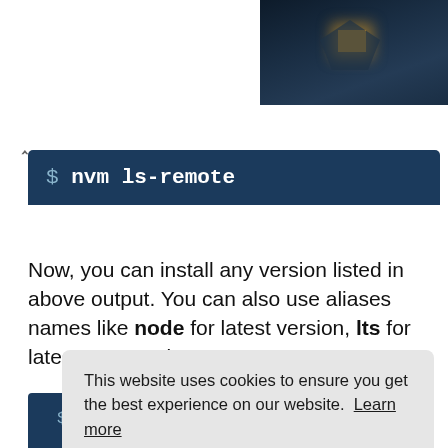[Figure (screenshot): Top banner with dark cabin/treehouse image at night with glowing yellow window]
[Figure (screenshot): Terminal block with dark navy background showing command: $ nvm ls-remote]
Now, you can install any version listed in above output. You can also use aliases names like node for latest version, lts for latest LTS version, etc.
This website uses cookies to ensure you get the best experience on our website. Learn more
Got it!